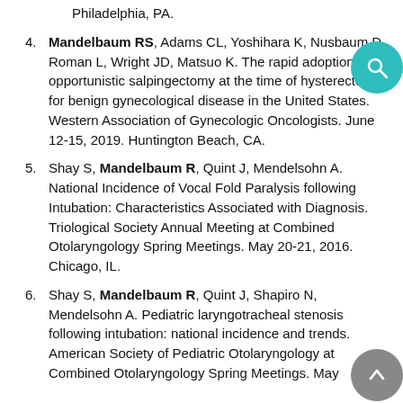4. Mandelbaum RS, Adams CL, Yoshihara K, Nusbaum D, Roman L, Wright JD, Matsuo K. The rapid adoption of opportunistic salpingectomy at the time of hysterectomy for benign gynecological disease in the United States. Western Association of Gynecologic Oncologists. June 12-15, 2019. Huntington Beach, CA.
5. Shay S, Mandelbaum R, Quint J, Mendelsohn A. National Incidence of Vocal Fold Paralysis following Intubation: Characteristics Associated with Diagnosis. Triological Society Annual Meeting at Combined Otolaryngology Spring Meetings. May 20-21, 2016. Chicago, IL.
6. Shay S, Mandelbaum R, Quint J, Shapiro N, Mendelsohn A. Pediatric laryngotracheal stenosis following intubation: national incidence and trends. American Society of Pediatric Otolaryngology at Combined Otolaryngology Spring Meetings. May